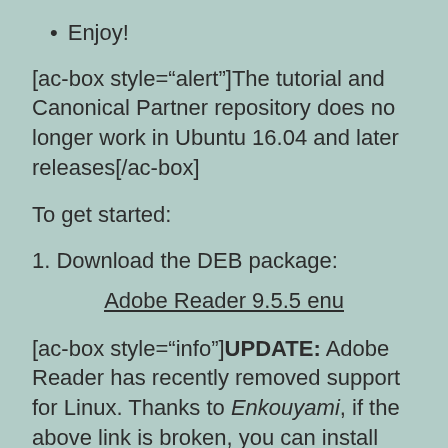Enjoy!
[ac-box style="alert"]The tutorial and Canonical Partner repository does no longer work in Ubuntu 16.04 and later releases[/ac-box]
To get started:
1. Download the DEB package:
Adobe Reader 9.5.5 enu
[ac-box style="info"]UPDATE: Adobe Reader has recently removed support for Linux. Thanks to Enkouyami, if the above link is broken, you can install Adobe Reader from